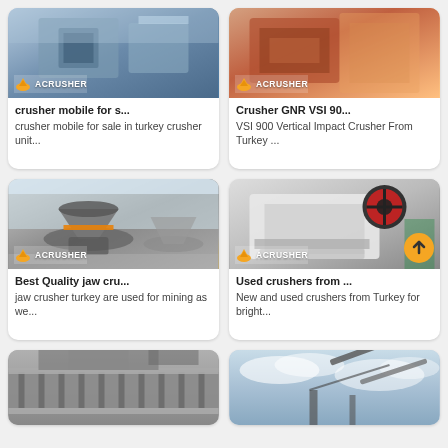[Figure (photo): Industrial crusher machine with blue/grey equipment, ACRUSHER logo badge at bottom left]
crusher mobile for s...
crusher mobile for sale in turkey crusher unit...
[Figure (photo): Close-up of red/orange crusher machine parts, ACRUSHER logo badge]
Crusher GNR VSI 90...
VSI 900 Vertical Impact Crusher From Turkey ...
[Figure (photo): Large grey industrial jaw/cone crusher in warehouse, ACRUSHER logo badge]
Best Quality jaw cru...
jaw crusher turkey are used for mining as we...
[Figure (photo): White jaw crusher with large red flywheel, ACRUSHER logo badge, orange scroll-to-top button]
Used crushers from ...
New and used crushers from Turkey for bright...
[Figure (photo): Industrial conveyor/feeder equipment interior, partially shown]
[Figure (photo): Outdoor crusher equipment against cloudy sky, partially shown]